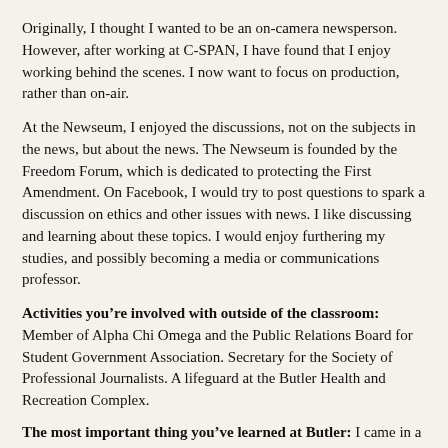Originally, I thought I wanted to be an on-camera newsperson. However, after working at C-SPAN, I have found that I enjoy working behind the scenes. I now want to focus on production, rather than on-air.
At the Newseum, I enjoyed the discussions, not on the subjects in the news, but about the news. The Newseum is founded by the Freedom Forum, which is dedicated to protecting the First Amendment. On Facebook, I would try to post questions to spark a discussion on ethics and other issues with news. I like discussing and learning about these topics. I would enjoy furthering my studies, and possibly becoming a media or communications professor.
Activities you’re involved with outside of the classroom: Member of Alpha Chi Omega and the Public Relations Board for Student Government Association. Secretary for the Society of Professional Journalists. A lifeguard at the Butler Health and Recreation Complex.
The most important thing you’ve learned at Butler: I came in a biology major, and am leaving with a degree in electronic media and political science. At Butler, I have been allowed to explore, and find what areas I excel in and what interests me.